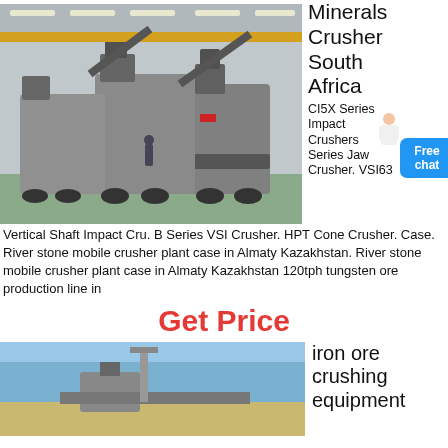[Figure (photo): Industrial crushers lined up in a large manufacturing facility with overhead crane and lighting]
Minerals Crusher South Africa
CI5X Series Impact Crushers Series Jaw Crusher. VSI63 Vertical Shaft Impact Cru. B Series VSI Crusher. HPT Cone Crusher. Case. River stone mobile crusher plant case in Almaty Kazakhstan. River stone mobile crusher plant case in Almaty Kazakhstan 120tph tungsten ore production line in
Get Price
[Figure (photo): Iron ore crushing equipment, outdoor industrial setting with blue sky]
iron ore crushing equipment